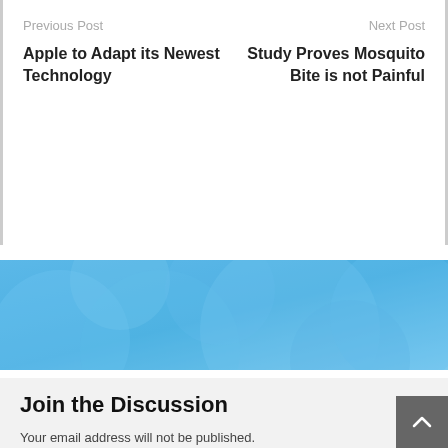Previous Post
Apple to Adapt its Newest Technology
Next Post
Study Proves Mosquito Bite is not Painful
[Figure (illustration): Blue decorative banner with circular bubble patterns in lighter blue tones]
Join the Discussion
Your email address will not be published. Required fields are marked *
Your comment here *